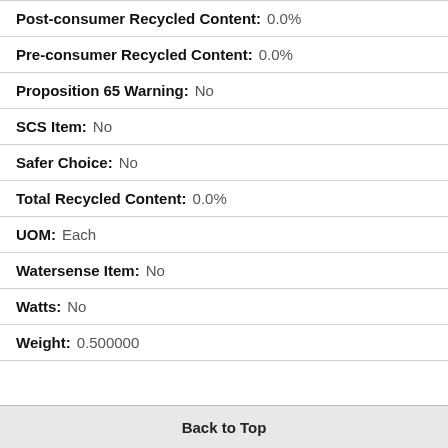| Field | Value |
| --- | --- |
| Post-consumer Recycled Content: | 0.0% |
| Pre-consumer Recycled Content: | 0.0% |
| Proposition 65 Warning: | No |
| SCS Item: | No |
| Safer Choice: | No |
| Total Recycled Content: | 0.0% |
| UOM: | Each |
| Watersense Item: | No |
| Watts: | No |
| Weight: | 0.500000 |
Back to Top